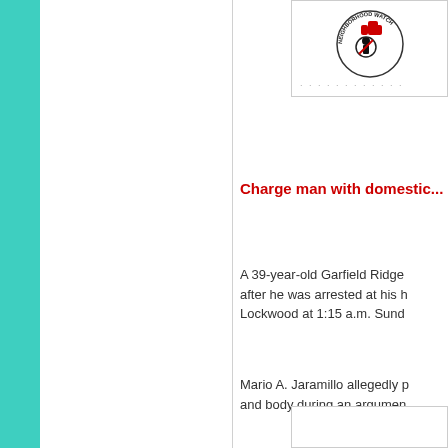[Figure (logo): Neighborhood Watch circular logo with red, green, and black graphic imagery]
Charge man with domestic...
A 39-year-old Garfield Ridge after he was arrested at his h Lockwood at 1:15 a.m. Sund
Mario A. Jaramillo allegedly p and body during an argumen